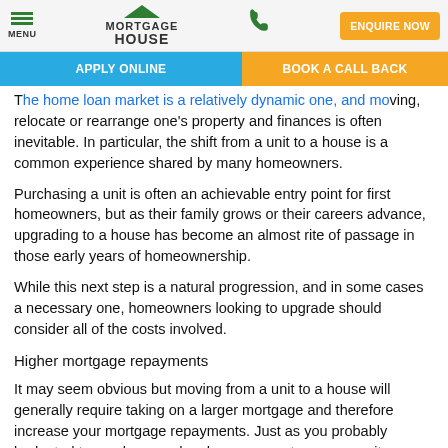Mortgage House — MENU | APPLY ONLINE | BOOK A CALL BACK | ENQUIRE NOW
The home loan market is a relatively dynamic one, and moving, relocate or rearrange one's property and finances is often inevitable. In particular, the shift from a unit to a house is a common experience shared by many homeowners.
Purchasing a unit is often an achievable entry point for first homeowners, but as their family grows or their careers advance, upgrading to a house has become an almost rite of passage in those early years of homeownership.
While this next step is a natural progression, and in some cases a necessary one, homeowners looking to upgrade should consider all of the costs involved.
Higher mortgage repayments
It may seem obvious but moving from a unit to a house will generally require taking on a larger mortgage and therefore increase your mortgage repayments. Just as you probably budgeted to purchase and make repayments on your unit, you will need to do the same to account for increased mortgage repayments on a house.